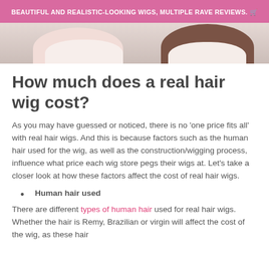BEAUTIFUL AND REALISTIC-LOOKING WIGS, MULTIPLE RAVE REVIEWS. 🛒
[Figure (photo): Two women shown from shoulders down, one with light skin wearing a light pink top, one with darker skin, both side by side against a light background.]
How much does a real hair wig cost?
As you may have guessed or noticed, there is no 'one price fits all' with real hair wigs. And this is because factors such as the human hair used for the wig, as well as the construction/wigging process, influence what price each wig store pegs their wigs at. Let's take a closer look at how these factors affect the cost of real hair wigs.
Human hair used
There are different types of human hair used for real hair wigs. Whether the hair is Remy, Brazilian or virgin will affect the cost of the wig, as these hair